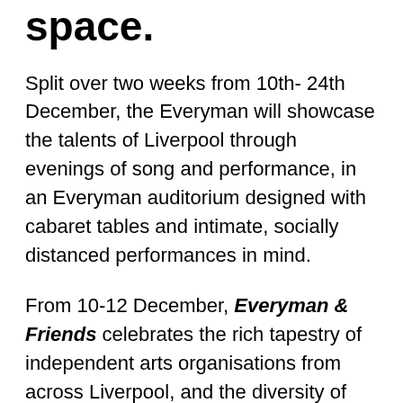space.
Split over two weeks from 10th- 24th December, the Everyman will showcase the talents of Liverpool through evenings of song and performance, in an Everyman auditorium designed with cabaret tables and intimate, socially distanced performances in mind.
From 10-12 December, Everyman & Friends celebrates the rich tapestry of independent arts organisations from across Liverpool, and the diversity of theatre in our city. Everyman & Friends features performances from Everyman spoken word regulars A Lovely Word, the return of the sensational burlesque show DisabiliTease – hosted by Little Peaches and Arielle